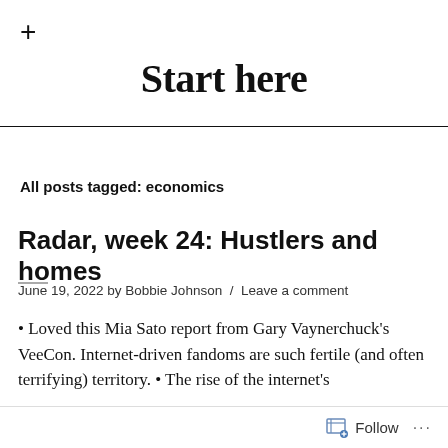+
Start here
All posts tagged: economics
Radar, week 24: Hustlers and homes
June 19, 2022 by Bobbie Johnson / Leave a comment
• Loved this Mia Sato report from Gary Vaynerchuck's VeeCon. Internet-driven fandoms are such fertile (and often terrifying) territory. • The rise of the internet's
Follow ...